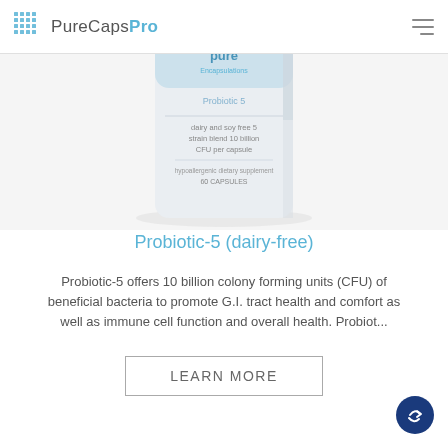PureCapsPro
[Figure (photo): Product photo of PureCapsPro Probiotic-5 supplement bottle, white container with light blue label showing 'dairy and soy free 5 strain blend 10 billion CFU per capsule', 'hypoallergenic dietary supplement', '60 CAPSULES']
Probiotic-5 (dairy-free)
Probiotic-5 offers 10 billion colony forming units (CFU) of beneficial bacteria to promote G.I. tract health and comfort as well as immune cell function and overall health. Probiot...
LEARN MORE